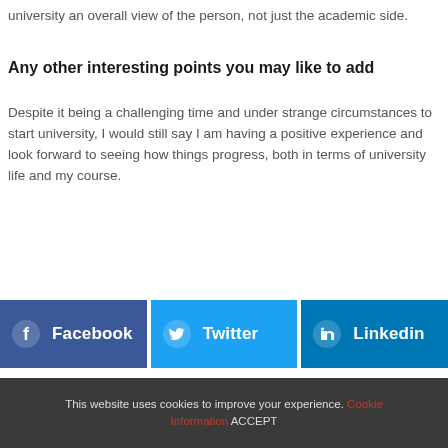university an overall view of the person, not just the academic side.
Any other interesting points you may like to add
Despite it being a challenging time and under strange circumstances to start university, I would still say I am having a positive experience and look forward to seeing how things progress, both in terms of university life and my course.
[Figure (infographic): Social share buttons: Facebook (dark blue), Twitter (light blue), LinkedIn (blue)]
[Figure (other): Red bar element at bottom of page, partially visible]
This website uses cookies to improve your experience. Cookie Information ACCEPT